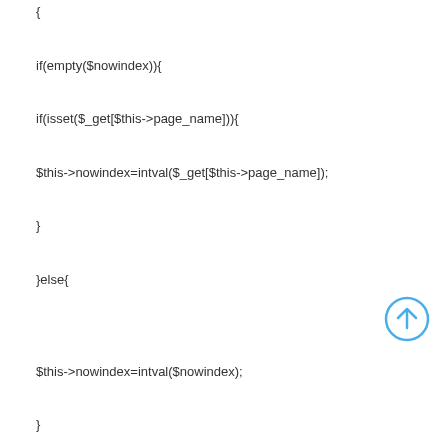{
if(empty($nowindex)){
if(isset($_get[$this->page_name])){
$this->nowindex=intval($_get[$this->page_name]);
}
}else{
$this->nowindex=intval($nowindex);
}
}
[Figure (illustration): Blue circle with upward-pointing arrow icon]